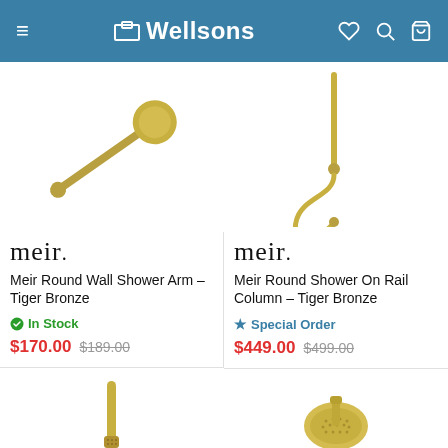Wellsons
[Figure (photo): Meir Round Wall Shower Arm in Tiger Bronze finish, partial top view]
[Figure (photo): Meir Round Shower On Rail Column in Tiger Bronze finish, partial top view showing hose and slide rail]
meir.
Meir Round Wall Shower Arm – Tiger Bronze
In Stock
$170.00 $189.00
meir.
Meir Round Shower On Rail Column – Tiger Bronze
Special Order
$449.00 $499.00
[Figure (photo): Meir handheld shower head in Tiger Bronze, bottom partial view]
[Figure (photo): Meir round handheld shower head in gold/bronze finish, bottom partial view]